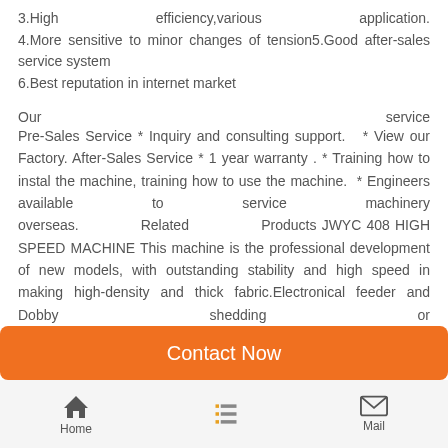3.High    efficiency,various    application.
4.More sensitive to minor changes of tension5.Good after-sales service system
6.Best reputation in internet market
Our    service
Pre-Sales Service * Inquiry and consulting support.   * View our Factory. After-Sales Service * 1 year warranty . * Training how to instal the machine, training how to use the machine.  * Engineers available to service machinery overseas.              Related              Products JWYC 408 HIGH SPEED MACHINE This machine is the professional development of new models, with outstanding stability and high speed in making high-density and thick fabric.Electronical feeder and Dobby shedding or Cam shedding can be installed on it. JAYC 7100  The JAYC high-speed air jet takes energy saving into complete and deep consideration. The eccentric rockshaft with the small inertia moment and
Contact Now
Home   Mail